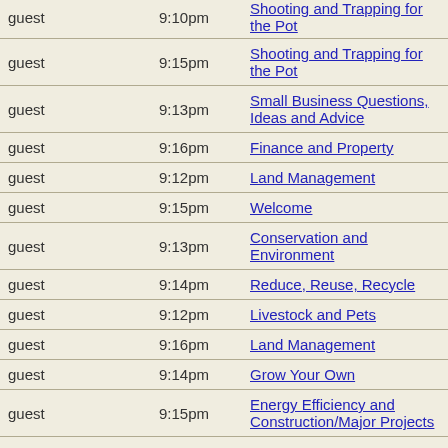| Guest | Time | Topic |
| --- | --- | --- |
| guest | 9:10pm | Shooting and Trapping for the Pot |
| guest | 9:15pm | Shooting and Trapping for the Pot |
| guest | 9:13pm | Small Business Questions, Ideas and Advice |
| guest | 9:16pm | Finance and Property |
| guest | 9:12pm | Land Management |
| guest | 9:15pm | Welcome |
| guest | 9:13pm | Conservation and Environment |
| guest | 9:14pm | Reduce, Reuse, Recycle |
| guest | 9:12pm | Livestock and Pets |
| guest | 9:16pm | Land Management |
| guest | 9:14pm | Grow Your Own |
| guest | 9:15pm | Energy Efficiency and Construction/Major Projects |